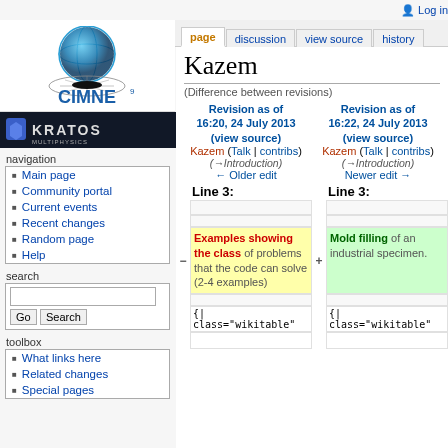[Figure (logo): CIMNE logo with sphere and grid graphic above blue CIMNE text with superscript 9]
[Figure (logo): Kratos Multiphysics logo on dark background]
navigation
Main page
Community portal
Current events
Recent changes
Random page
Help
search
toolbox
What links here
Related changes
Special pages
Kazem
(Difference between revisions)
Revision as of 16:20, 24 July 2013 (view source)
Kazem (Talk | contribs)
(→Introduction)
← Older edit
Revision as of 16:22, 24 July 2013 (view source)
Kazem (Talk | contribs)
(→Introduction)
Newer edit →
Line 3:
Line 3:
Examples showing the class of problems that the code can solve (2-4 examples)
Mold filling of an industrial specimen.
{| class="wikitable"
{| class="wikitable"